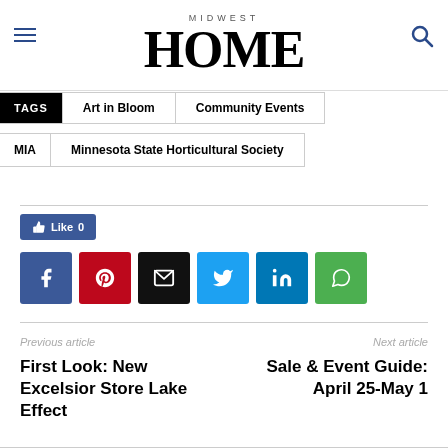MIDWEST HOME
TAGS  Art in Bloom  Community Events
MIA  Minnesota State Horticultural Society
[Figure (infographic): Social sharing buttons: Like 0 button (Facebook blue), followed by Facebook, Pinterest, Email, Twitter, LinkedIn, WhatsApp share buttons]
Previous article
First Look: New Excelsior Store Lake Effect
Next article
Sale & Event Guide: April 25-May 1